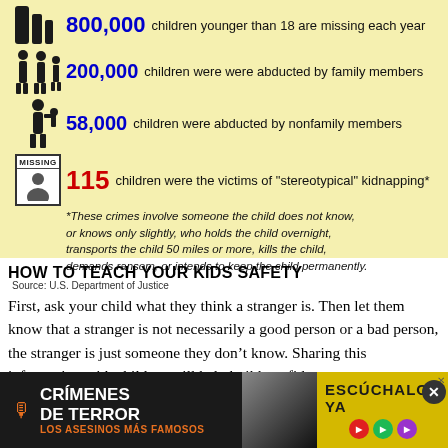[Figure (infographic): Infographic on yellow background showing missing children statistics: 800,000 children younger than 18 are missing each year; 200,000 children were abducted by family members; 58,000 children were abducted by nonfamily members; 115 children were the victims of stereotypical kidnapping.]
*These crimes involve someone the child does not know, or knows only slightly, who holds the child overnight, transports the child 50 miles or more, kills the child, demands ransom, or intends to keep the child permanently.
Source: U.S. Department of Justice
HOW TO TEACH YOUR KIDS SAFETY
First, ask your child what they think a stranger is. Then let them know that a stranger is not necessarily a good person or a bad person, the stranger is just someone they don't know. Sharing this information with children will help build confidence to are
[Figure (infographic): Advertisement bar at bottom: Crímenes de Terror podcast ad on dark background with yellow panel showing ESCÚCHALO YA and podcast platform icons.]